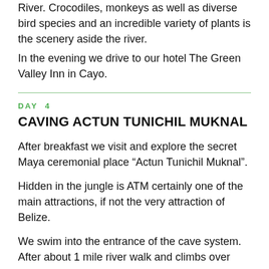River. Crocodiles, monkeys as well as diverse bird species and an incredible variety of plants is the scenery aside the river.
In the evening we drive to our hotel The Green Valley Inn in Cayo.
DAY 4
CAVING ACTUN TUNICHIL MUKNAL
After breakfast we visit and explore the secret Maya ceremonial place “Actun Tunichil Muknal”.
Hidden in the jungle is ATM certainly one of the main attractions, if not the very attraction of Belize.
We swim into the entrance of the cave system. After about 1 mile river walk and climbs over rock formations we arrive in the main hall.
Centuries old handicrafts, skulls and skeletons convey impressions of old Maya ceremonial